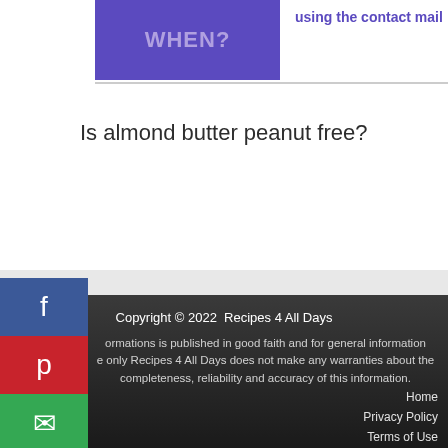using the contact mail
WHEN?
Is almond butter peanut free?
[Figure (infographic): Social share sidebar with Facebook (blue), Pinterest (red), and Email (green) buttons with icons]
Copyright © 2022  Recipes 4 All Days
ormations is published in good faith and for general information purpose only Recipes 4 All Days does not make any warranties about the completeness, reliability and accuracy of this information.
Home
Privacy Policy
Terms of Use
Contact us